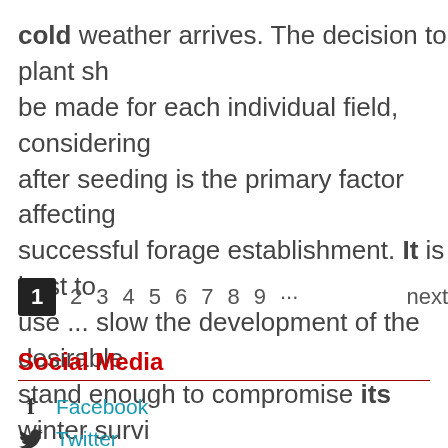cold weather arrives. The decision to plant sh... be made for each individual field, considering after seeding is the primary factor affecting successful forage establishment. It is best to use ... slow the development of the desirable stand enough to compromise its winter survi... No-Till ...
1 2 3 4 5 6 7 8 9 ... next
Social Media
Facebook
Twitter